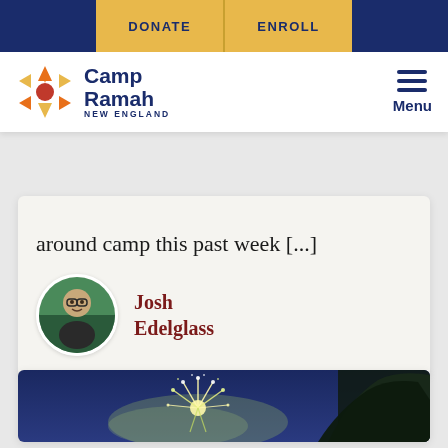DONATE | ENROLL
[Figure (logo): Camp Ramah New England logo with colorful snowflake/star icon and site navigation menu icon]
around camp this past week [...]
Josh Edelglass
[Figure (photo): Fireworks exploding in a night sky with trees silhouetted in the background]